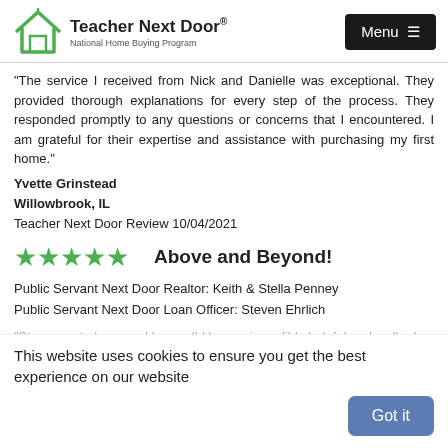[Figure (logo): Teacher Next Door logo with green house icon and text 'Teacher Next Door® National Home Buying Program']
[Figure (other): Dark menu button with hamburger icon reading 'Menu ≡']
"The service I received from Nick and Danielle was exceptional. They provided thorough explanations for every step of the process. They responded promptly to any questions or concerns that I encountered. I am grateful for their expertise and assistance with purchasing my first home."
Yvette Grinstead
Willowbrook, IL
Teacher Next Door Review 10/04/2021
[Figure (other): Five green stars rating]
Above and Beyond!
Public Servant Next Door Realtor: Keith & Stella Penney
Public Servant Next Door Loan Officer: Steven Ehrlich
"Steve went above and beyond! He was incredibly helpful and walked us through the entire process step by step. He was available and always available when we had questions. Great to work with for service! We would highly recommend!"
Christen Herron
Margate, FL
Public Servant Next Door Review 10/04/2021
This website uses cookies to ensure you get the best experience on our website